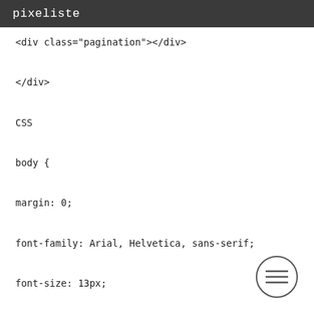pixeliste
<div class="pagination"></div>
</div>

CSS　　　

body {

margin: 0;

font-family: Arial, Helvetica, sans-serif;

font-size: 13px;

line-height: 1.5;

}

.device {

width: 640px;

height: 300px;

padding: 30px 40px;
[Figure (other): Hamburger menu icon button (three horizontal lines inside a circle)]